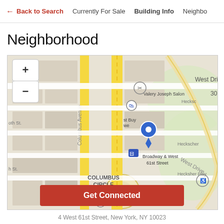← Back to Search   Currently For Sale   Building Info   Neighbo
Neighborhood
[Figure (map): Street map centered on Broadway & West 61st Street, New York, showing Columbus Avenue, Columbus Circle, nearby streets, Valery Joseph Salon, Heckscher Park area, West Drive. Blue location pin marker at Broadway & West 61st Street. Map zoom controls (+/-) in top left.]
Get Connected
4 West 61st Street, New York, NY 10023